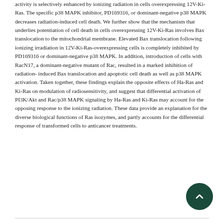activity is selectively enhanced by ionizing radiation in cells overexpressing 12V-Ki-Ras. The specific p38 MAPK inhibitor, PD169316, or dominant-negative p38 MAPK decreases radiation-induced cell death. We further show that the mechanism that underlies potentiation of cell death in cells overexpressing 12V-Ki-Ras involves Bax translocation to the mitochondrial membrane. Elevated Bax translocation following ionizing irradiation in 12V-Ki-Ras-overexpressing cells is completely inhibited by PD169316 or dominant-negative p38 MAPK. In addition, introduction of cells with RacN17, a dominant-negative mutant of Rac, resulted in a marked inhibition of radiation-induced Bax translocation and apoptotic cell death as well as p38 MAPK activation. Taken together, these findings explain the opposite effects of Ha-Ras and Ki-Ras on modulation of radiosensitivity, and suggest that differential activation of PI3K/Akt and Rac/p38 MAPK signaling by Ha-Ras and Ki-Ras may account for the opposing response to the ionizing radiation. These data provide an explanation for the diverse biological functions of Ras isozymes, and partly accounts for the differential response of transformed cells to anticancer treatments.